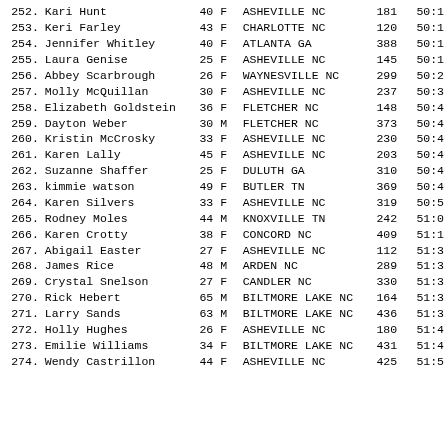| Place | Name | Age | Sex | City | Bib | Time |
| --- | --- | --- | --- | --- | --- | --- |
| 252. | Kari Hunt | 40 | F | ASHEVILLE NC | 181 | 50:1 |
| 253. | Keri Farley | 43 | F | CHARLOTTE NC | 120 | 50:1 |
| 254. | Jennifer Whitley | 40 | F | ATLANTA GA | 388 | 50:1 |
| 255. | Laura Genise | 25 | F | ASHEVILLE NC | 145 | 50:1 |
| 256. | Abbey Scarbrough | 26 | F | WAYNESVILLE NC | 299 | 50:2 |
| 257. | Molly McQuillan | 30 | F | ASHEVILLE NC | 237 | 50:3 |
| 258. | Elizabeth Goldstein | 36 | F | FLETCHER NC | 148 | 50:4 |
| 259. | Dayton Weber | 30 | M | FLETCHER NC | 373 | 50:4 |
| 260. | Kristin McCrosky | 33 | F | ASHEVILLE NC | 230 | 50:4 |
| 261. | Karen Lally | 45 | F | ASHEVILLE NC | 203 | 50:4 |
| 262. | Suzanne Shaffer | 25 | F | DULUTH GA | 310 | 50:4 |
| 263. | kimmie watson | 49 | F | BUTLER TN | 369 | 50:4 |
| 264. | Karen Silvers | 33 | F | ASHEVILLE NC | 319 | 50:5 |
| 265. | Rodney Moles | 44 | M | KNOXVILLE TN | 242 | 51:0 |
| 266. | Karen Crotty | 38 | F | CONCORD NC | 409 | 51:1 |
| 267. | Abigail Easter | 27 | F | ASHEVILLE NC | 112 | 51:3 |
| 268. | James Rice | 48 | M | ARDEN NC | 289 | 51:3 |
| 269. | Crystal Snelson | 27 | F | CANDLER NC | 330 | 51:3 |
| 270. | Rick Hebert | 65 | M | BILTMORE LAKE NC | 164 | 51:3 |
| 271. | Larry Sands | 63 | M | BILTMORE LAKE NC | 436 | 51:3 |
| 272. | Holly Hughes | 26 | F | ASHEVILLE NC | 180 | 51:4 |
| 273. | Emilie Williams | 34 | F | BILTMORE LAKE NC | 431 | 51:4 |
| 274. | Wendy Castrillon | 44 | F | ASHEVILLE NC | 425 | 51:5 |